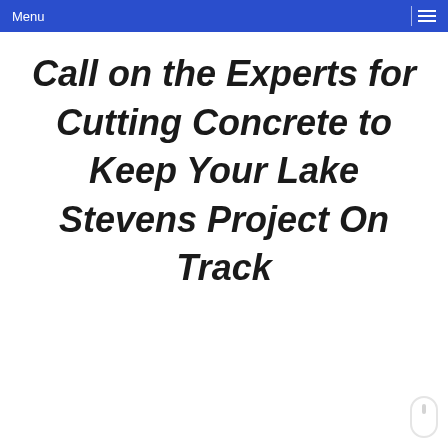Menu
Call on the Experts for Cutting Concrete to Keep Your Lake Stevens Project On Track